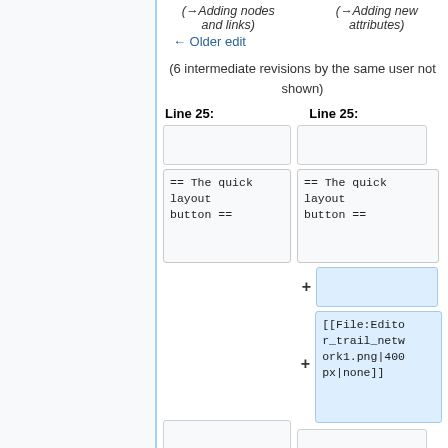(→Adding nodes and links)
(→Adding new attributes)
← Older edit
(6 intermediate revisions by the same user not shown)
Line 25:
Line 25:
== The quick layout button ==
== The quick layout button ==
[[File:Editor_trail_network1.png|400px|none]]